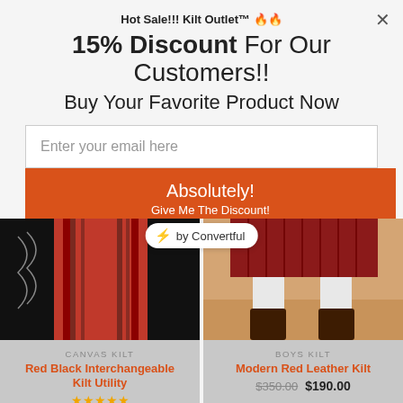Hot Sale!!! Kilt Outlet™ 🔥🔥
15% Discount For Our Customers!!
Buy Your Favorite Product Now
Enter your email here
Absolutely!
Give Me The Discount!
[Figure (photo): Black and red interchangeable utility kilt with chain detail]
CANVAS KILT
Red Black Interchangeable Kilt Utility
[Figure (photo): Modern red leather kilt worn with boots and knee-high socks]
BOYS KILT
Modern Red Leather Kilt
$350.00  $190.00